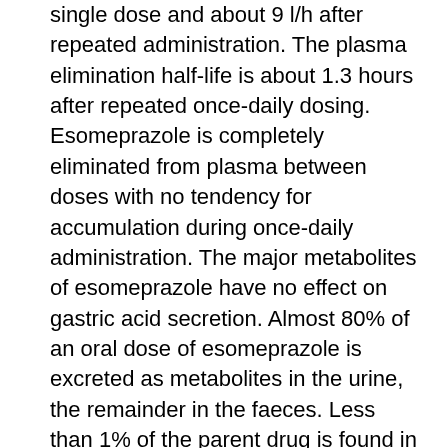single dose and about 9 l/h after repeated administration. The plasma elimination half-life is about 1.3 hours after repeated once-daily dosing. Esomeprazole is completely eliminated from plasma between doses with no tendency for accumulation during once-daily administration. The major metabolites of esomeprazole have no effect on gastric acid secretion. Almost 80% of an oral dose of esomeprazole is excreted as metabolites in the urine, the remainder in the faeces. Less than 1% of the parent drug is found in urine.
Linearity/non linearity
The pharmacokinetics of esomeprazole has been studied in doses up to 40 mg b.i.d. The area under the plasma concentration-time curve increases